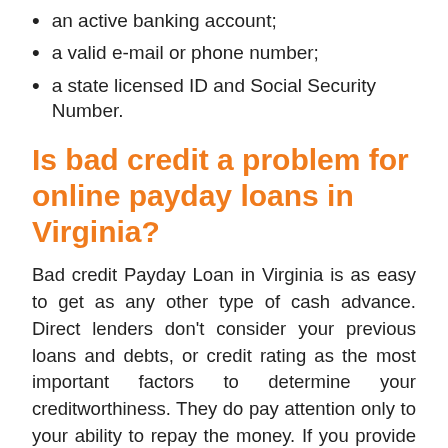an active banking account;
a valid e-mail or phone number;
a state licensed ID and Social Security Number.
Is bad credit a problem for online payday loans in Virginia?
Bad credit Payday Loan in Virginia is as easy to get as any other type of cash advance. Direct lenders don’t consider your previous loans and debts, or credit rating as the most important factors to determine your creditworthiness. They do pay attention only to your ability to repay the money. If you provide a proof of a stable income, it is likely to be enough to get approved for Payday Loans for bad credit in VA.
Are payday loans legal in VA area?